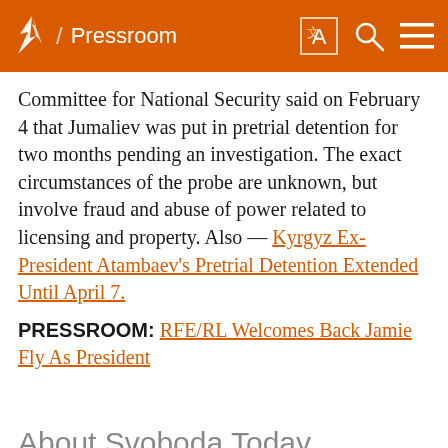/ Pressroom
Committee for National Security said on February 4 that Jumaliev was put in pretrial detention for two months pending an investigation. The exact circumstances of the probe are unknown, but involve fraud and abuse of power related to licensing and property. Also -- Kyrgyz Ex-President Atambaev's Pretrial Detention Extended Until April 7.
PRESSROOM: RFE/RL Welcomes Back Jamie Fly As President
About Svoboda Today
Svoboda Today is a quick guide to developments in